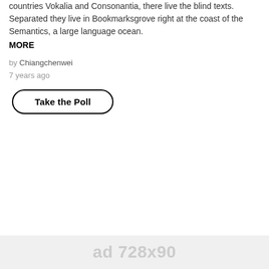countries Vokalia and Consonantia, there live the blind texts. Separated they live in Bookmarksgrove right at the coast of the Semantics, a large language ocean.
MORE
by Chiangchenwei
7 years ago
Take the Poll
[Figure (other): Gray rectangular ad placeholder box with a close button in the bottom right corner reading '× close']
ad 728x90